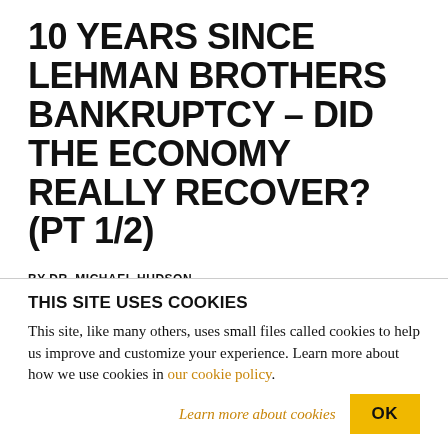10 YEARS SINCE LEHMAN BROTHERS BANKRUPTCY – DID THE ECONOMY REALLY RECOVER? (PT 1/2)
BY DR. MICHAEL HUDSON
SEPTEMBER 19, 2018
[Figure (infographic): Social sharing icons: Twitter (blue circle), Facebook (blue circle), Reddit (light grey circle), Email (grey circle)]
THIS SITE USES COOKIES
This site, like many others, uses small files called cookies to help us improve and customize your experience. Learn more about how we use cookies in our cookie policy.
Learn more about cookies  OK